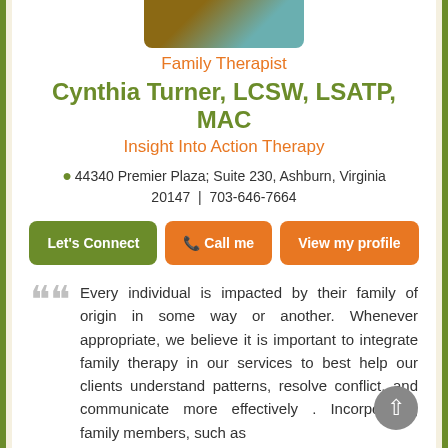[Figure (photo): Partial photo of Cynthia Turner at the top of the card]
Family Therapist
Cynthia Turner, LCSW, LSATP, MAC
Insight Into Action Therapy
44340 Premier Plaza; Suite 230, Ashburn, Virginia 20147 | 703-646-7664
Let's Connect | Call me | View my profile
Every individual is impacted by their family of origin in some way or another. Whenever appropriate, we believe it is important to integrate family therapy in our services to best help our clients understand patterns, resolve conflict, and communicate more effectively . Incorporating family members, such as